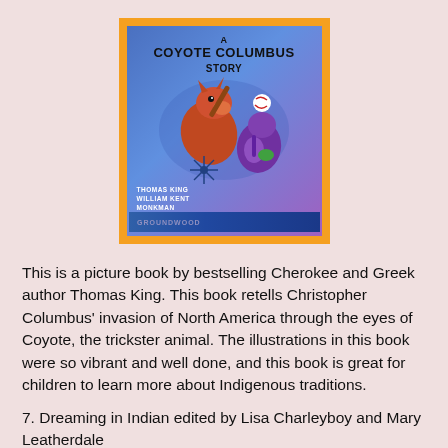[Figure (illustration): Book cover of 'A Coyote Columbus Story' by Thomas King, illustrated by William Kent Monkman. Bright blue background with colorful cartoon-style illustration of a coyote character playing baseball, orange border.]
This is a picture book by bestselling Cherokee and Greek author Thomas King. This book retells Christopher Columbus' invasion of North America through the eyes of Coyote, the trickster animal. The illustrations in this book were so vibrant and well done, and this book is great for children to learn more about Indigenous traditions.
7. Dreaming in Indian edited by Lisa Charleyboy and Mary Leatherdale
[Figure (illustration): Partial view of a second book cover, showing a warm-toned earthy image, partially cropped at the bottom of the page.]